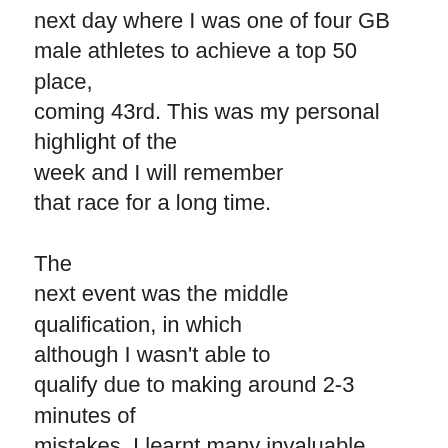next day where I was one of four GB male athletes to achieve a top 50 place, coming 43rd. This was my personal highlight of the week and I will remember that race for a long time.

The next event was the middle qualification, in which although I wasn't able to qualify due to making around 2-3 minutes of mistakes, I learnt many invaluable lessons about how to go about racing this discipline, namely the need for a very high level of technical accuracy! The final event was the relay, in which I ran second leg for the men's second team. I ran a good race with only one mistake, which was an excellent way to cap off a fantastic week of racing not just for myself but also for the GB. This was d...